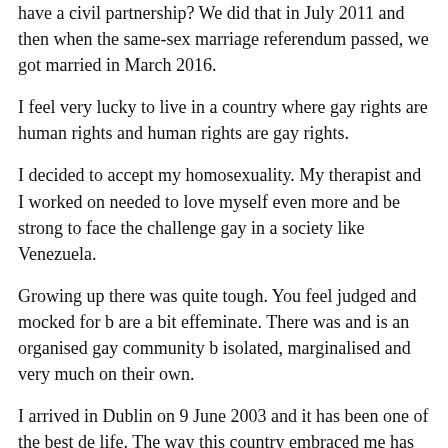have a civil partnership? We did that in July 2011 and then when the same-sex marriage referendum passed, we got married in March 2016.
I feel very lucky to live in a country where gay rights are human rights and human rights are gay rights.
I decided to accept my homosexuality. My therapist and I worked on needed to love myself even more and be strong to face the challenge gay in a society like Venezuela.
Growing up there was quite tough. You feel judged and mocked for b are a bit effeminate. There was and is an organised gay community b isolated, marginalised and very much on their own.
I arrived in Dublin on 9 June 2003 and it has been one of the best de life. The way this country embraced me has been pivotal to me as a p Dublin is my home.
The gay community was a bit smaller than now but it was amazing to circumstances back in Venezuela.